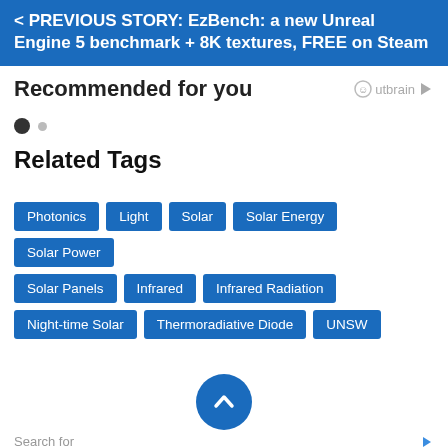< PREVIOUS STORY: EzBench: a new Unreal Engine 5 benchmark + 8K textures, FREE on Steam
Recommended for you
Related Tags
Photonics
Light
Solar
Solar Energy
Solar Power
Solar Panels
Infrared
Infrared Radiation
Night-time Solar
Thermoradiative Diode
UNSW
Search for
STOCKS TO INVEST IN
Yahoo! Search | Sponsored